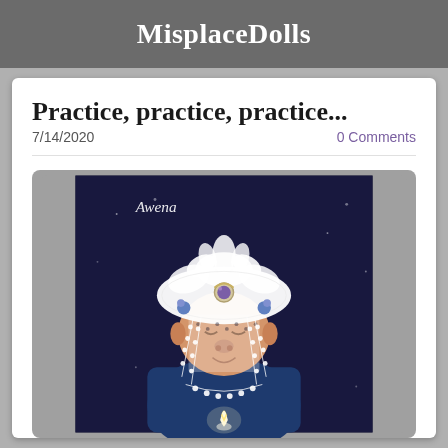MisplaceDolls
Practice, practice, practice...
7/14/2020
0 Comments
[Figure (photo): A fantasy/art doll named 'Awena' wearing an elaborate white lace headdress with a purple gemstone, holding a candle, dressed in dark blue clothing with pearl bead strands hanging from the headdress. The doll has a serene expression with closed eyes.]